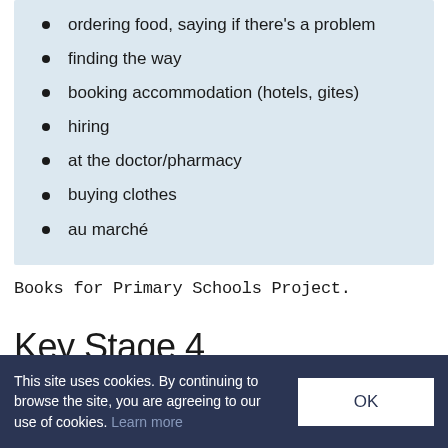ordering food, saying if there's a problem
finding the way
booking accommodation (hotels, gites)
hiring
at the doctor/pharmacy
buying clothes
au marché
Books for Primary Schools Project.
Key Stage 4
This site uses cookies. By continuing to browse the site, you are agreeing to our use of cookies. Learn more